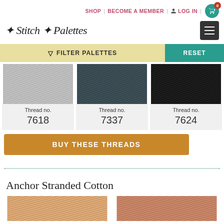SHOP | BECOME A MEMBER | LOG IN | Cart 0
Stitch Palettes
FILTER PALETTES | RESET
[Figure (photo): Light gray thread/yarn texture, Thread no. 7618]
[Figure (photo): Dark gray/teal thread/yarn texture, Thread no. 7337]
[Figure (photo): Black thread/yarn texture, Thread no. 7624]
BUY THESE THREADS
Anchor Stranded Cotton
[Figure (photo): Warm peach/tan thread texture preview]
[Figure (photo): Warm reddish thread texture preview]